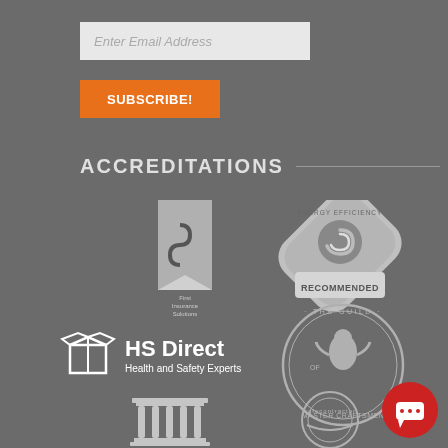Enter Email Address
SUBSCRIBE!
ACCREDITATIONS
[Figure (logo): First Insurance Solutions logo - black and white banner/ribbon style logo with text 'First Insurance Solutions']
[Figure (logo): Energy Efficiency Recommended badge - rounded diamond shape with spiral logo and text 'ENERGY EFFICIENCY RECOMMENDED']
[Figure (logo): HS Direct Health and Safety Experts logo - open box icon with text 'HS Direct Health and Safety Experts']
[Figure (logo): The Guild of Master Craftsmen circular badge logo]
[Figure (logo): Classical columns / pillar icon logo]
[Figure (logo): Safecontractor circular badge logo]
[Figure (logo): Red circular chat bubble icon button (bottom right)]